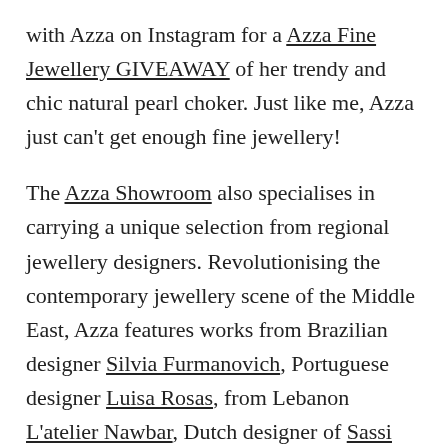with Azza on Instagram for a Azza Fine Jewellery GIVEAWAY of her trendy and chic natural pearl choker. Just like me, Azza just can't get enough fine jewellery!

The Azza Showroom also specialises in carrying a unique selection from regional jewellery designers. Revolutionising the contemporary jewellery scene of the Middle East, Azza features works from Brazilian designer Silvia Furmanovich, Portuguese designer Luisa Rosas, from Lebanon L'atelier Nawbar, Dutch designer of Sassi Fine Jewellery, from the UAE AlSerkal Jewellery, Armenian designer Mike Joseph and Vanleles Diamonds brand based in my beloved London. You can get to know some of the designers in my exclusive short interviews I posted on